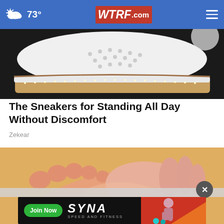73° WTRF.com
[Figure (photo): Close-up of a white perforated sneaker with tan/brown sole on dark ground]
The Sneakers for Standing All Day Without Discomfort
Zekear
[Figure (photo): Close-up of a person's foot being held, pink/peach skin tones on yellow background]
[Figure (screenshot): Advertisement banner: Join Now - SYNA Speed and Fitness with woman athlete photo]